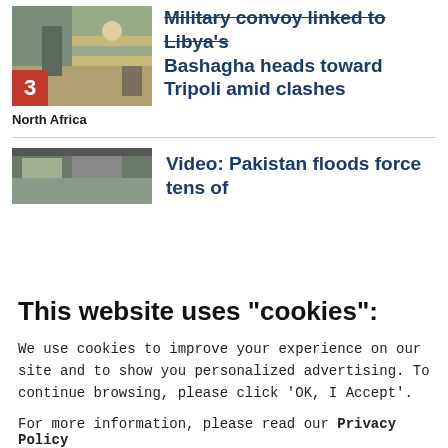[Figure (photo): Thumbnail image of military convoy with people watching from roadside, numbered 3]
Military convoy linked to Libya's Bashagha heads toward Tripoli amid clashes
North Africa
[Figure (photo): Thumbnail image related to Pakistan floods]
Video: Pakistan floods force tens of
This website uses "cookies":
We use cookies to improve your experience on our site and to show you personalized advertising. To continue browsing, please click ‘OK, I Accept’.
For more information, please read our Privacy Policy
Ok, I Accept